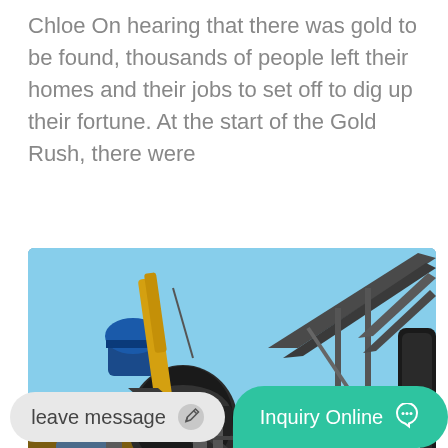Chloe On hearing that there was gold to be found, thousands of people left their homes and their jobs to set off to dig up their fortune. At the start of the Gold Rush, there were
[Figure (photo): Outdoor industrial mining machinery scene showing large conveyor belts, crushing equipment, a yellow crane, and various metal structures under a clear blue sky.]
leave message
Inquiry Online